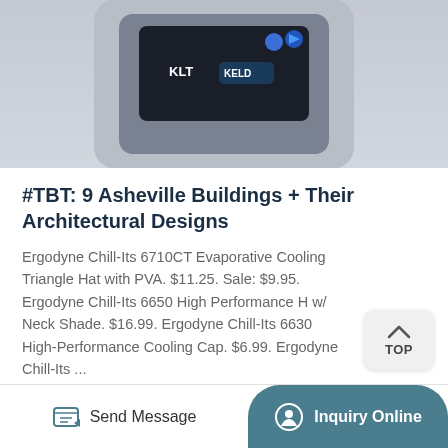[Figure (photo): Product photo of an electronic device (control unit/controller) with a dark panel, buttons, and KELD branding, shown from above on a light gray background.]
#TBT: 9 Asheville Buildings + Their Architectural Designs
Ergodyne Chill-Its 6710CT Evaporative Cooling Triangle Hat with PVA. $11.25. Sale: $9.95. Ergodyne Chill-Its 6650 High Performance H w/ Neck Shade. $16.99. Ergodyne Chill-Its 6630 High-Performance Cooling Cap. $6.99. Ergodyne Chill-Its ...
[Figure (other): Get Price button with arrow icon]
Send Message
Inquiry Online